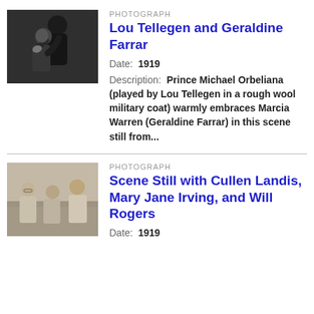[Figure (photo): Black and white photograph of Lou Tellegen embracing Geraldine Farrar, movie scene still from 1919]
PHOTOGRAPH
Lou Tellegen and Geraldine Farrar
Date: 1919
Description: Prince Michael Orbeliana (played by Lou Tellegen in a rough wool military coat) warmly embraces Marcia Warren (Geraldine Farrar) in this scene still from...
[Figure (photo): Black and white photograph showing scene still with Cullen Landis, Mary Jane Irving, and Will Rogers, 1919]
PHOTOGRAPH
Scene Still with Cullen Landis, Mary Jane Irving, and Will Rogers
Date: 1919